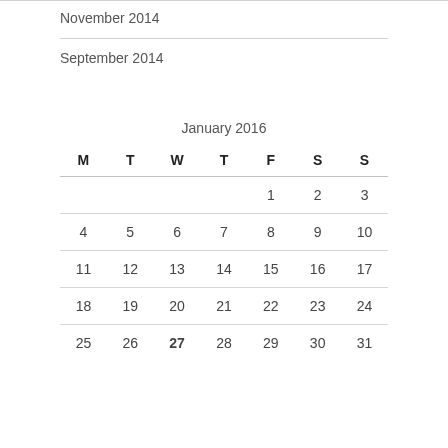November 2014
September 2014
| M | T | W | T | F | S | S |
| --- | --- | --- | --- | --- | --- | --- |
|  |  |  |  | 1 | 2 | 3 |
| 4 | 5 | 6 | 7 | 8 | 9 | 10 |
| 11 | 12 | 13 | 14 | 15 | 16 | 17 |
| 18 | 19 | 20 | 21 | 22 | 23 | 24 |
| 25 | 26 | 27 | 28 | 29 | 30 | 31 |